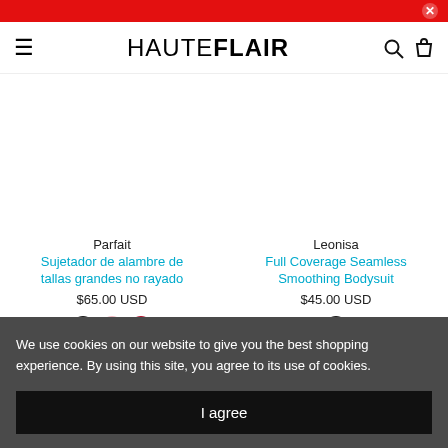HAUTEFLAIR
Parfait
Sujetador de alambre de tallas grandes no rayado
$65.00 USD
Leonisa
Full Coverage Seamless Smoothing Bodysuit
$45.00 USD
We use cookies on our website to give you the best shopping experience. By using this site, you agree to its use of cookies.
I agree